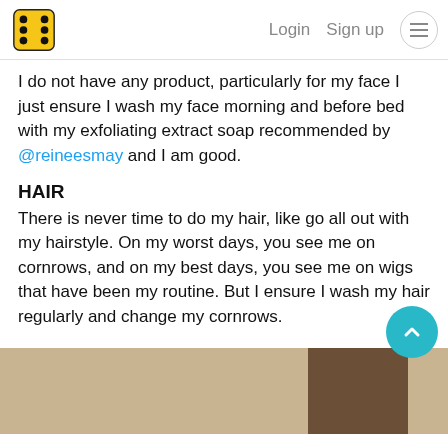Login  Sign up  ☰
I do not have any product, particularly for my face I just ensure I wash my face morning and before bed with my exfoliating extract soap recommended by @reineesmay and I am good.
HAIR
There is never time to do my hair, like go all out with my hairstyle. On my worst days, you see me on cornrows, and on my best days, you see me on wigs that have been my routine. But I ensure I wash my hair regularly and change my cornrows.
[Figure (photo): A partial indoor photo showing a beige/tan wall and what appears to be a dark wooden frame or furniture piece on the right side.]